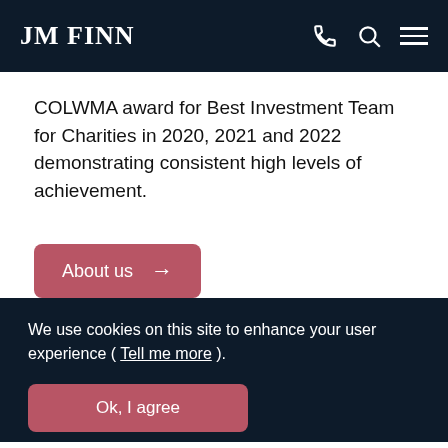JM FINN
COLWMA award for Best Investment Team for Charities in 2020, 2021 and 2022 demonstrating consistent high levels of achievement.
About us →
We use cookies on this site to enhance your user experience ( Tell me more ).
Ok, I agree